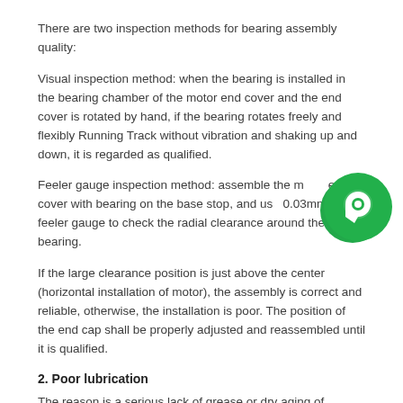There are two inspection methods for bearing assembly quality:
Visual inspection method: when the bearing is installed in the bearing chamber of the motor end cover and the end cover is rotated by hand, if the bearing rotates freely and flexibly Running Track without vibration and shaking up and down, it is regarded as qualified.
Feeler gauge inspection method: assemble the motor end cover with bearing on the base stop, and use 0.03mm thick feeler gauge to check the radial clearance around the bearing.
If the large clearance position is just above the center (horizontal installation of motor), the assembly is correct and reliable, otherwise, the installation is poor. The position of the end cap shall be properly adjusted and reassembled until it is qualified.
2. Poor lubrication
The reason is a serious lack of grease or dry aging of